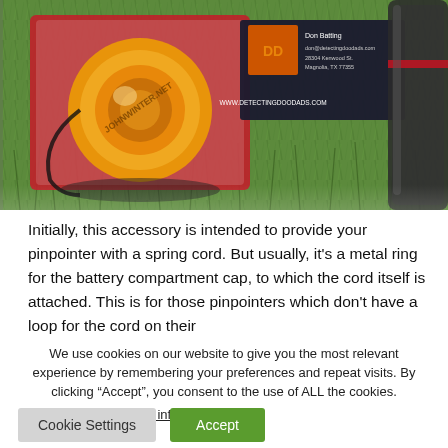[Figure (photo): Photo of metal detecting accessories on grass: an orange retractable cord/reel device in a red box labelled 'JOHNWINTER.NET', a business card for 'Detecting Doodads' with Don Batting's contact info and website www.detectingdoodads.com, and part of a metal detector probe visible at right edge.]
Initially, this accessory is intended to provide your pinpointer with a spring cord. But usually, it's a metal ring for the battery compartment cap, to which the cord itself is attached. This is for those pinpointers which don't have a loop for the cord on their
We use cookies on our website to give you the most relevant experience by remembering your preferences and repeat visits. By clicking “Accept”, you consent to the use of ALL the cookies.
Do not sell my personal information.
Cookie Settings
Accept